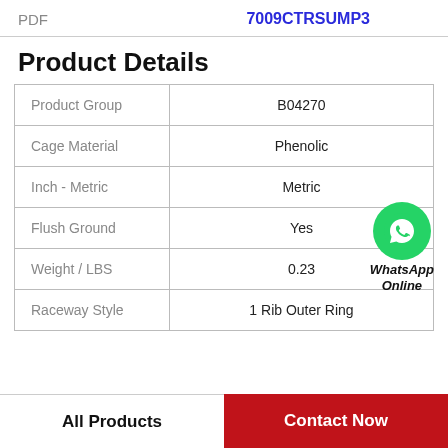PDF   7009CTRSUMP3
Product Details
|  |  |
| --- | --- |
| Product Group | B04270 |
| Cage Material | Phenolic |
| Inch - Metric | Metric |
| Flush Ground | Yes |
| Weight / LBS | 0.23 |
| Raceway Style | 1 Rib Outer Ring |
[Figure (logo): WhatsApp Online green circle icon with phone handset, text WhatsApp Online below]
All Products   Contact Now